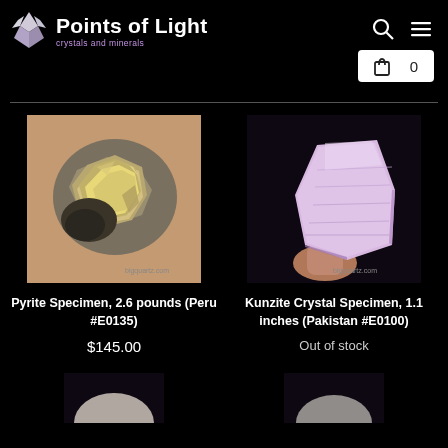Points of Light - crystals and minerals
[Figure (photo): Pyrite specimen showing metallic silvery crystal cluster, held in hand, with bigquartz.com watermark]
Pyrite Specimen, 2.6 pounds (Peru #E0135)
$145.00
[Figure (photo): Kunzite crystal specimen, pale lavender/pink color, held in fingers against dark background, with bigquartz.com watermark]
Kunzite Crystal Specimen, 1.1 inches (Pakistan #E0100)
Out of stock